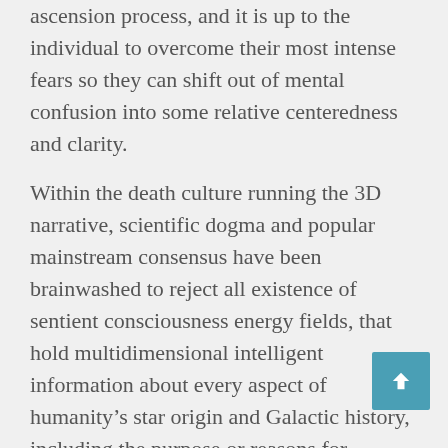ascension process, and it is up to the individual to overcome their most intense fears so they can shift out of mental confusion into some relative centeredness and clarity.
Within the death culture running the 3D narrative, scientific dogma and popular mainstream consensus have been brainwashed to reject all existence of sentient consciousness energy fields, that hold multidimensional intelligent information about every aspect of humanity's star origin and Galactic history, including the purpose or reasons for incarnating on the earth. Many religions relegate the language of living knowledge and multidimensional communication with living things or entities as pure evil, and subjected to verifying entity possessions only through the presence of